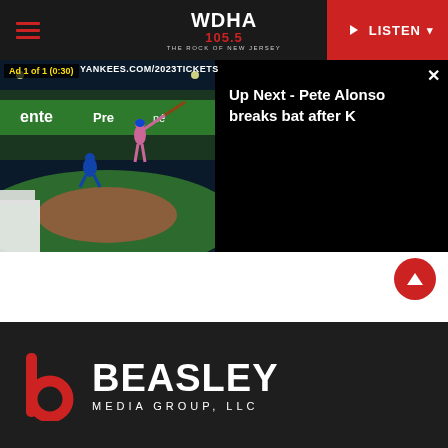[Figure (screenshot): WDHA 105.5 The Rock of New Jersey website navigation bar with hamburger menu, station logo, and red LISTEN button]
[Figure (screenshot): YouTube video player showing a baseball game ad (Yankees.com/2023tickets) with 'Up Next - Pete Alonso breaks bat after K' overlay on the right side]
Up Next - Pete Alonso breaks bat after K
[Figure (logo): Beasley Media Group, LLC logo with red 'b' icon and white bold text on dark background]